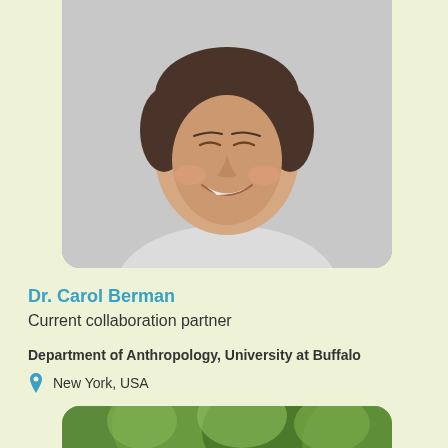[Figure (photo): Headshot photo of Dr. Carol Berman, a woman with short dark hair, smiling, against a light background.]
Dr. Carol Berman
Current collaboration partner
Department of Anthropology, University at Buffalo
New York, USA
[Figure (photo): Outdoor nature photo showing green foliage and trees, partially visible at the bottom of the page.]